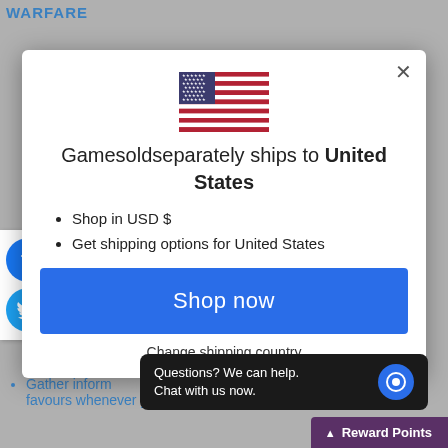WARFARE
[Figure (screenshot): Modal popup with US flag, shipping information, shop now button, and change shipping country link]
Gamesoldseparately ships to United States
Shop in USD $
Get shipping options for United States
Shop now
Change shipping country
Gather information... favours whenever your plans need a...
Questions? We can help. Chat with us now.
Reward Points